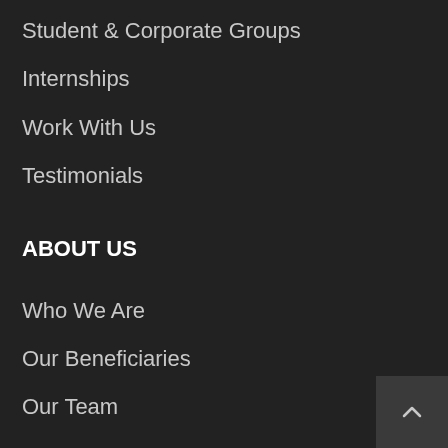Student & Corporate Groups
Internships
Work With Us
Testimonials
ABOUT US
Who We Are
Our Beneficiaries
Our Team
Our Impact
Annual Reports